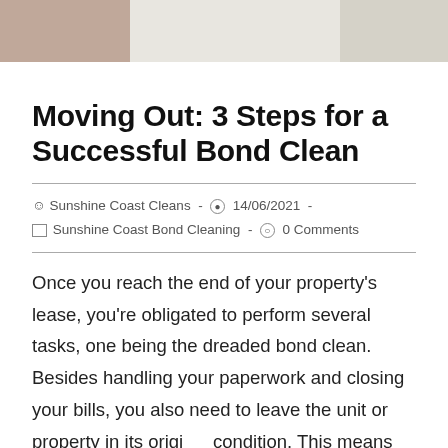[Figure (photo): Partial image at top of page showing a person in floral clothing on the left and what appears to be folded linens or towels on the right]
Moving Out: 3 Steps for a Successful Bond Clean
Sunshine Coast Cleans  -  14/06/2021  -  Sunshine Coast Bond Cleaning  -  0 Comments
Once you reach the end of your property's lease, you're obligated to perform several tasks, one being the dreaded bond clean. Besides handling your paperwork and closing your bills, you also need to leave the unit or property in its original condition. This means collecting all of your personal furniture and performing a bond clean.